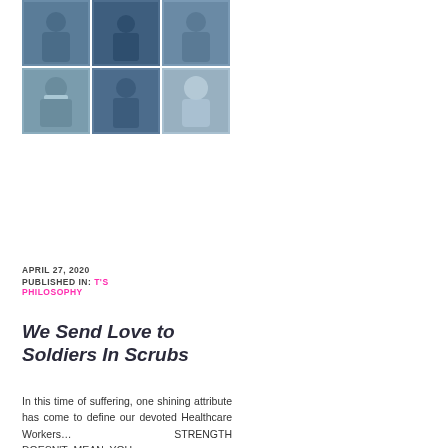[Figure (photo): Photo collage of healthcare workers in scrubs, masks, and PPE equipment in hospital settings — 6 photos arranged in a 3x2 grid]
APRIL 27, 2020
PUBLISHED IN: T'S PHILOSOPHY
We Send Love to Soldiers In Scrubs
In this time of suffering, one shining attribute has come to define our devoted Healthcare Workers… STRENGTH DOESN'T MEAN YOU